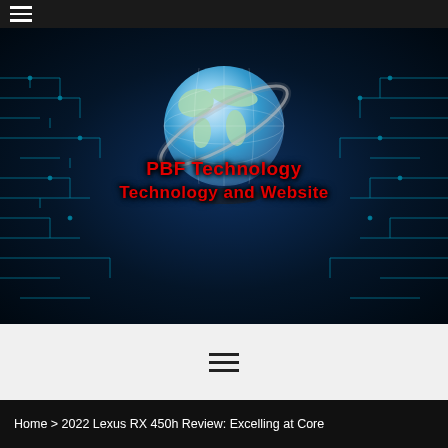☰ (hamburger menu)
[Figure (logo): PBF Technology Technology and Website logo with a globe graphic on a dark blue circuit board background. Red bold text reads 'PBF Technology' on first line and 'Technology and Website' on second line.]
☰ (hamburger menu icon, dark)
Home > 2022 Lexus RX 450h Review: Excelling at Core